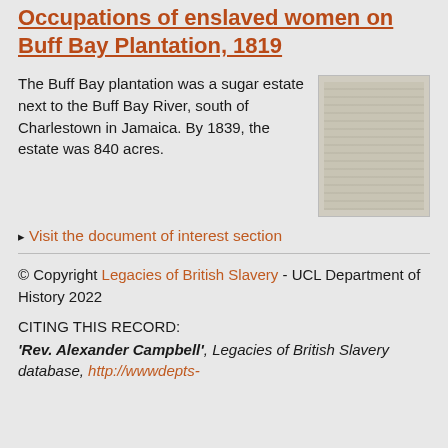Occupations of enslaved women on Buff Bay Plantation, 1819
The Buff Bay plantation was a sugar estate next to the Buff Bay River, south of Charlestown in Jamaica. By 1839, the estate was 840 acres.
[Figure (photo): Old handwritten document, appears to be a historical register or list, faded and lined.]
▸ Visit the document of interest section
© Copyright Legacies of British Slavery - UCL Department of History 2022
CITING THIS RECORD:
'Rev. Alexander Campbell', Legacies of British Slavery database, http://wwwdepts-